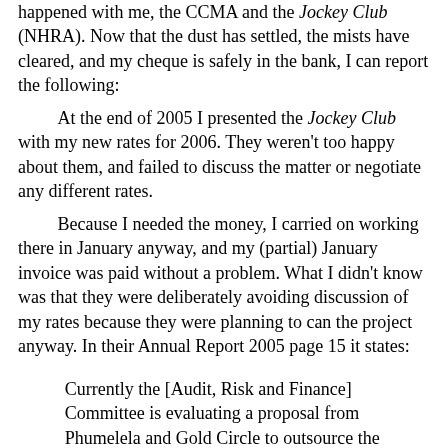happened with me, the CCMA and the Jockey Club (NHRA). Now that the dust has settled, the mists have cleared, and my cheque is safely in the bank, I can report the following:
At the end of 2005 I presented the Jockey Club with my new rates for 2006. They weren't too happy about them, and failed to discuss the matter or negotiate any different rates.
Because I needed the money, I carried on working there in January anyway, and my (partial) January invoice was paid without a problem. What I didn't know was that they were deliberately avoiding discussion of my rates because they were planning to can the project anyway. In their Annual Report 2005 page 15 it states:
Currently the [Audit, Risk and Finance] Committee is evaluating a proposal from Phumelela and Gold Circle to outsource the accounting, data processing/ information technology and handicapping functions of the NHRA. A